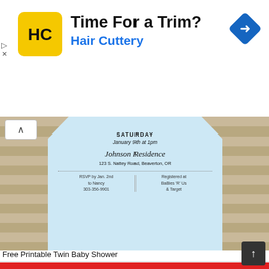[Figure (screenshot): Advertisement banner for Hair Cuttery: logo with HC letters in yellow circle, headline 'Time For a Trim?', subline 'Hair Cuttery', blue diamond navigation icon on right]
[Figure (photo): Free printable twin baby shower invitation on wood background, showing baby onesie shape with text: SATURDAY January 9th at 1pm, Johnson Residence, 123 S. Nattey Road Beaverton OR, RSVP by Jan. 2nd to Nancy 303-356-9901, Registered at BaBies 'R' Us & Target]
Free Printable Twin Baby Shower
[Figure (photo): Free printable pirate-themed cupcake wrapper with red and white stripes, baby pirate character, and text www.fazendoaminhafesta.blogspot.com]